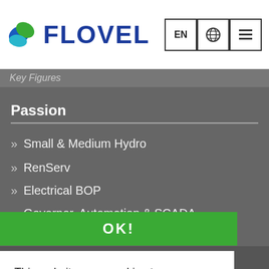[Figure (logo): Flovel company logo with blue/green leaf icon and bold blue FLOVEL text]
Key Figures
Passion
Small & Medium Hydro
RenServ
Electrical BOP
Governor, Automation & SCADA
Mechanical BOP
This website uses cookies to ensure you get the best experience on our website.
More information
24h
OK!
Valves